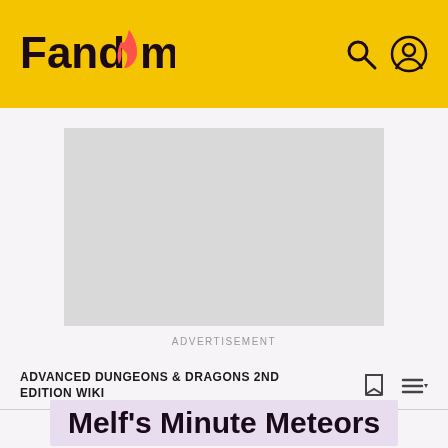Fandom
[Figure (other): Gray advertisement placeholder rectangle]
ADVERTISEMENT
ADVANCED DUNGEONS & DRAGONS 2ND EDITION WIKI
Melf's Minute Meteors